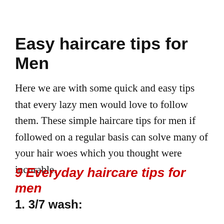Easy haircare tips for Men
Here we are with some quick and easy tips that every lazy men would love to follow them. These simple haircare tips for men if followed on a regular basis can solve many of your hair woes which you thought were incurable.
9 Everyday haircare tips for men
1. 3/7 wash: